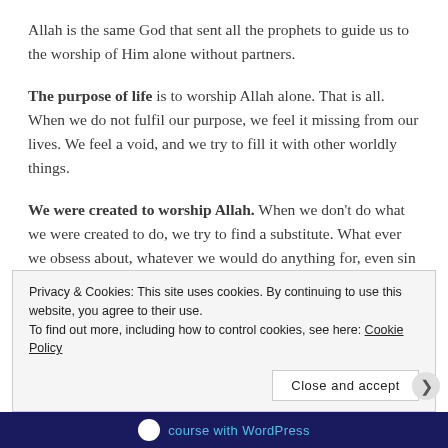Allah is the same God that sent all the prophets to guide us to the worship of Him alone without partners.
The purpose of life is to worship Allah alone. That is all. When we do not fulfil our purpose, we feel it missing from our lives. We feel a void, and we try to fill it with other worldly things.
We were created to worship Allah. When we don’t do what we were created to do, we try to find a substitute. What ever we obsess about, whatever we would do anything for, even sin for, is what we worship, whether it is a person, money, alcohol, drugs, sex, shopping, love, our
Privacy & Cookies: This site uses cookies. By continuing to use this website, you agree to their use.
To find out more, including how to control cookies, see here: Cookie Policy
Close and accept
course with WordPress